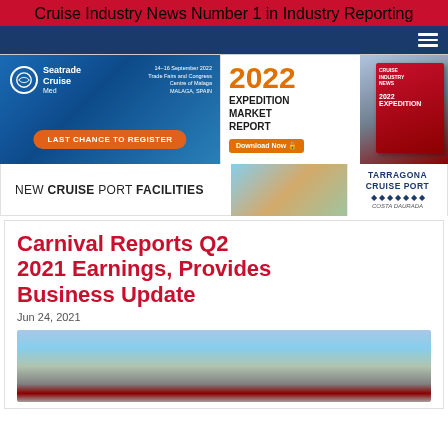Cruise Industry News — Number 1 in Industry Reporting
[Figure (screenshot): Seatrade Cruise Med advertisement — Last Chance to Register banner]
[Figure (screenshot): 2022 Expedition Market Report advertisement — Download Now]
[Figure (screenshot): Tarragona Cruise Port — New Cruise Port Facilities advertisement]
Carnival Reports Q2 2021 Earnings, Provides Business Update
Jun 24, 2021
[Figure (photo): Aerial photo of a city waterfront with a cruise ship visible]